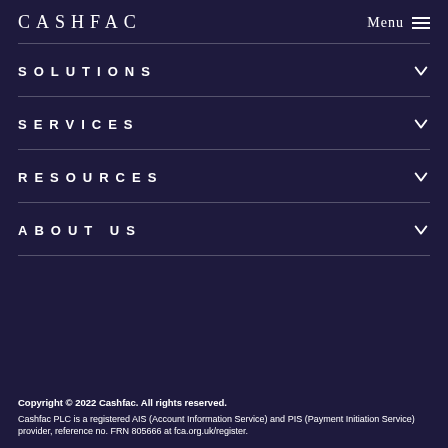CASHFAC
SOLUTIONS
SERVICES
RESOURCES
ABOUT US
Copyright © 2022 Cashfac. All rights reserved.
Cashfac PLC is a registered AIS (Account Information Service) and PIS (Payment Initiation Service) provider, reference no. FRN 805666 at fca.org.uk/register.